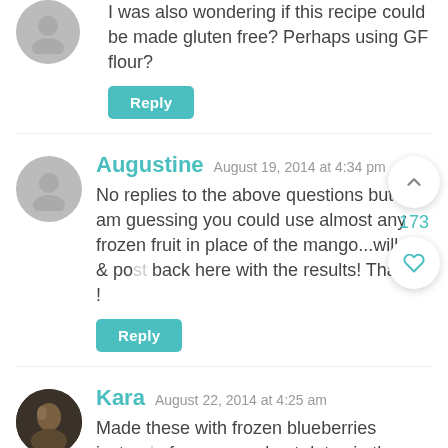I was also wondering if this recipe could be made gluten free? Perhaps using GF flour?
Reply
Augustine  August 19, 2014 at 4:34 pm
No replies to the above questions but I am guessing you could use almost any frozen fruit in place of the mango...will try & post back here with the results! Thanks !
Reply
Kara  August 22, 2014 at 4:25 am
Made these with frozen blueberries instead of mango and put dates in the blender with the fruit instead of the sugar. LOVE these!
Reply